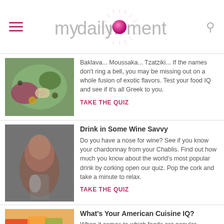mydailymoment
Baklava... Moussaka... Tzatziki... If the names don't ring a bell, you may be missing out on a whole fusion of exotic flavors. Test your food IQ and see if it's all Greek to you. TAKE THE QUIZ
Drink in Some Wine Savvy
Do you have a nose for wine? See if you know your chardonnay from your Chablis. Find out how much you know about the world's most popular drink by corking open our quiz. Pop the cork and take a minute to relax. TAKE THE QUIZ
What's Your American Cuisine IQ?
When it comes to which foods are popular